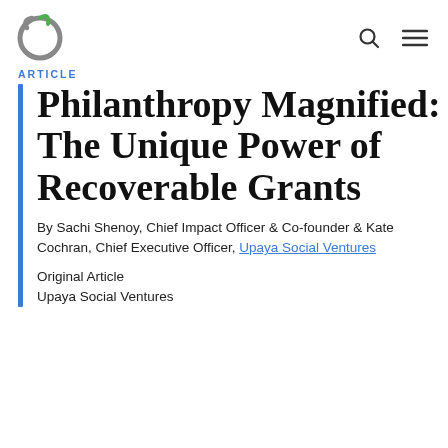ARTICLE
Philanthropy Magnified: The Unique Power of Recoverable Grants
By Sachi Shenoy, Chief Impact Officer & Co-founder & Kate Cochran, Chief Executive Officer, Upaya Social Ventures
Original Article
Upaya Social Ventures